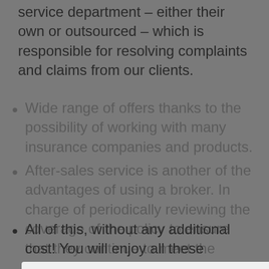service department – either their own or outsourced – which is responsible for resolving complaints and claims from our clients.
Wide range of offers thanks to the possibility of working with many insurance companies and products.
After-sales service is another of the advantages of using a broker. In charge of periodically reviewing the coverage of the policy to ensure that they continue to meet the needs of the insured.
[Figure (screenshot): Cookie consent dialog overlay from abr-seguros.com with Aceptar, Rechazar, and Personalizar buttons]
All of this, without any additional cost! You will enjoy all these procedures for the same price or even cheaper than